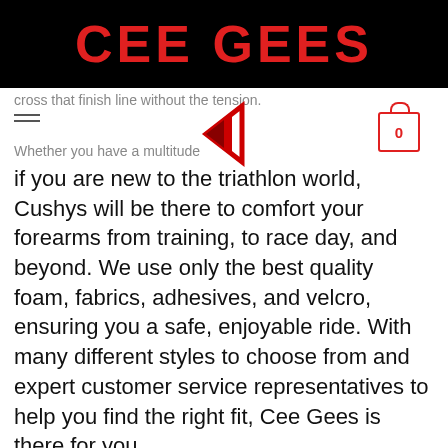CEE GEES
cross that finish line without the tension.
Whether you have a multitude of races under your belt, or if you are new to the triathlon world, Cushys will be there to comfort your forearms from training, to race day, and beyond. We use only the best quality foam, fabrics, adhesives, and velcro, ensuring you a safe, enjoyable ride. With many different styles to choose from and expert customer service representatives to help you find the right fit, Cee Gees is there for you.
Use Cushys To Avoid: